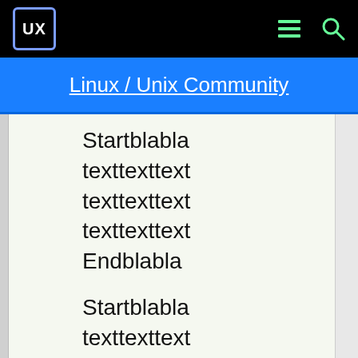UX
Linux / Unix Community
Startblabla
texttexttext
texttexttext
texttexttext
Endblabla
Startblabla
texttexttext
texttexttext
texttexttext
Endblabla
blablabla
blub